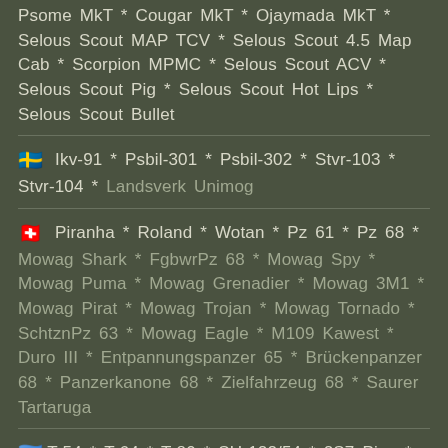Psome MkT * Cougar MkT * Ojaymada MkT * Selous Scout MAP TCV * Selous Scout 4.5 Map Cab * Scorpion MPMC * Selous Scout ACV * Selous Scout Pig * Selous Scout Hot Lips * Selous Scout Bullet
🇸🇪 Ikv-91 * Psbil-301 * Psbil-302 * Stvr-103 * Stvr-104 * Landsverk Unimog
🇨🇭 Piranha * Roland * Wotan * Pz 61 * Pz 68 * Mowag Shark * FgbwrPz 68 * Mowag Spy * Mowag Puma * Mowag Grenadier * Mowag 3M1 * Mowag Pirat * Mowag Trojan * Mowag Tornado * SchtznPz 63 * Mowag Eagle * M109 Kawest * Duro III * Entpannungspanzer 65 * Brückenpanzer 68 * Panzerkanone 68 * Zielfahrzeug 68 * Saurer Tartaruga
🇸🇴 T-54 * T-64 * T-80 * SU-122/54 * 2S7 Pion * 2S1 Gvozdika * ASU-85 * IS-4 * T-10 * ASU-57 * ASU-85 *